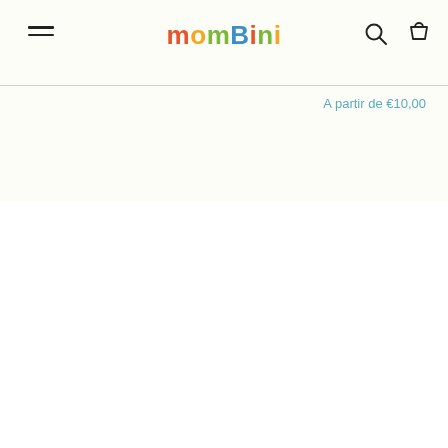mombini — navigation header with hamburger menu, logo, search and cart icons
A partir de €10,00